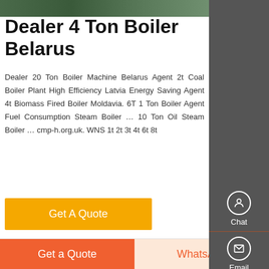[Figure (photo): Industrial boiler equipment photo at top of page]
Dealer 4 Ton Boiler Belarus
Dealer 20 Ton Boiler Machine Belarus Agent 2t Coal Boiler Plant High Efficiency Latvia Energy Saving Agent 4t Biomass Fired Boiler Moldavia. 6T 1 Ton Boiler Agent Fuel Consumption Steam Boiler … 10 Ton Oil Steam Boiler … cmp-h.org.uk. WNS 1t 2t 3t 4t 6t 8t
Get A Quote
[Figure (photo): Industrial boiler facility interior with Chinese text 方快锅炉]
Get a Quote
WhatsApp